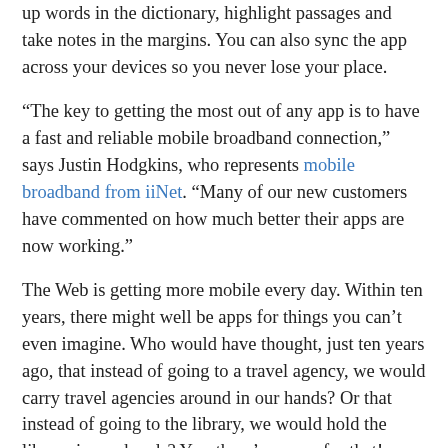up words in the dictionary, highlight passages and take notes in the margins. You can also sync the app across your devices so you never lose your place.
“The key to getting the most out of any app is to have a fast and reliable mobile broadband connection,” says Justin Hodgkins, who represents mobile broadband from iiNet. “Many of our new customers have commented on how much better their apps are now working.”
The Web is getting more mobile every day. Within ten years, there might well be apps for things you can’t even imagine. Who would have thought, just ten years ago, that instead of going to a travel agency, we would carry travel agencies around in our hands? Or that instead of going to the library, we would hold the library in our hands? Yes, there’s an app for that!
FILED UNDER: FUN  TAGGED WITH: APPS, MOBILE, SIMPLICITY
Speak Your Mind